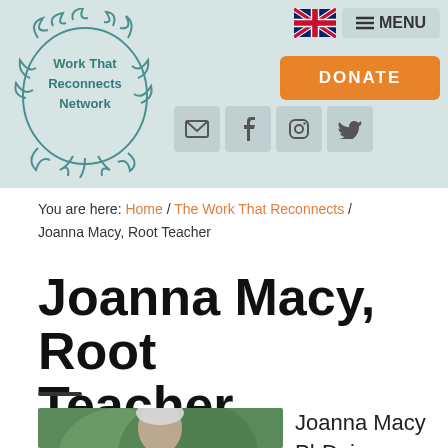[Figure (logo): Work That Reconnects Network logo with tree/roots illustration and text]
[Figure (screenshot): Navigation bar with UK flag, MENU button, social icons (email, facebook, instagram, twitter), and orange DONATE button]
You are here: Home / The Work That Reconnects / Joanna Macy, Root Teacher
Joanna Macy, Root Teacher
[Figure (photo): Portrait photo of Joanna Macy, an elderly woman with white hair, smiling, in front of green foliage]
Joanna Macy PhD, is a scholar of Buddhism,